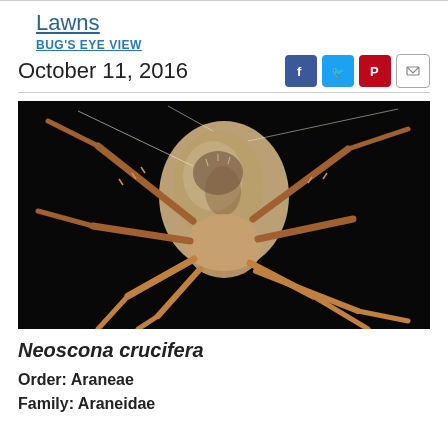Lawns
BUG'S EYE VIEW
October 11, 2016
[Figure (photo): Close-up photograph of a Neoscona crucifera (Spotted Orbweaver spider) against a dark black background, showing its large abdomen with mottled beige and brown coloring and reddish-orange legs with spiny bristles.]
Neoscona crucifera
Order: Araneae
Family: Araneidae